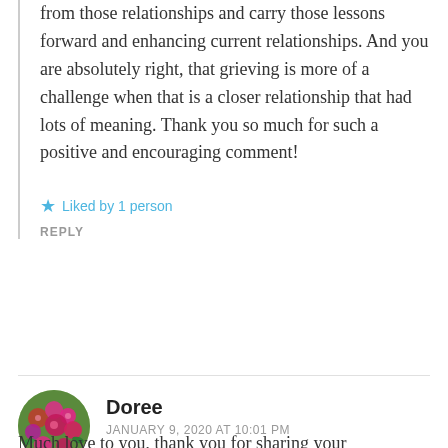from those relationships and carry those lessons forward and enhancing current relationships. And you are absolutely right, that grieving is more of a challenge when that is a closer relationship that had lots of meaning. Thank you so much for such a positive and encouraging comment!
★ Liked by 1 person
REPLY
Doree
JANUARY 9, 2020 AT 10:01 PM
Much love to you, thank you for sharing your